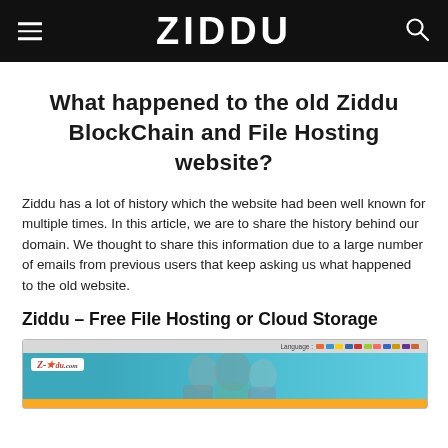ZIDDU
What happened to the old Ziddu BlockChain and File Hosting website?
Ziddu has a lot of history which the website had been well known for multiple times. In this article, we are to share the history behind our domain. We thought to share this information due to a large number of emails from previous users that keep asking us what happened to the old website.
Ziddu – Free File Hosting or Cloud Storage
[Figure (screenshot): Screenshot of the old Ziddu website showing the teal-colored homepage with the Ziddu logo, Login and Register buttons, and a group of people in the background.]